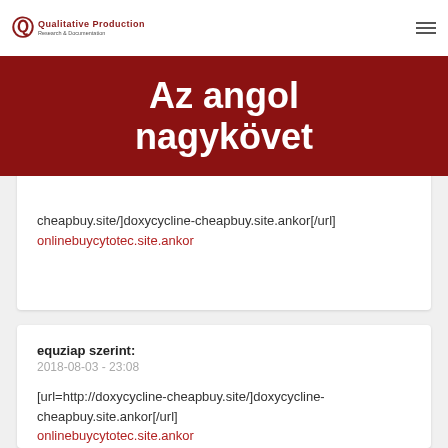Qualitative Production
Az angol nagykövet
cheapbuy.site/]doxycycline-cheapbuy.site.ankor[/url] onlinebuycytotec.site.ankor
equziap szerint:
2018-08-03 - 23:08
[url=http://doxycycline-cheapbuy.site/]doxycycline-cheapbuy.site.ankor[/url] onlinebuycytotec.site.ankor